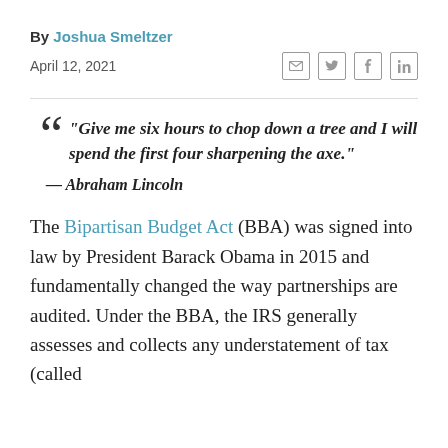By Joshua Smeltzer
April 12, 2021
“Give me six hours to chop down a tree and I will spend the first four sharpening the axe.” — Abraham Lincoln
The Bipartisan Budget Act (BBA) was signed into law by President Barack Obama in 2015 and fundamentally changed the way partnerships are audited. Under the BBA, the IRS generally assesses and collects any understatement of tax (called